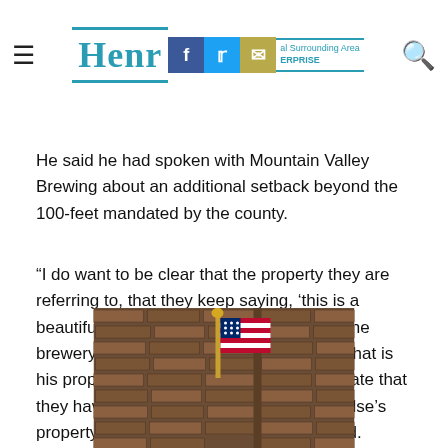Henry County Enterprise — Community newspaper header with social icons
He said he had spoken with Mountain Valley Brewing about an additional setback beyond the 100-feet mandated by the county.
“I do want to be clear that the property they are referring to, that they keep saying, ‘this is a beautiful property,’ that doesn’t belong to the brewery. That belongs to Mr. Robertson. That is his property, and this is America. I appreciate that they have that view, but that is someone else’s property, and this is their right,” Sakey said.
[Figure (photo): Photo of an American flag leaning against a brick wall corner]